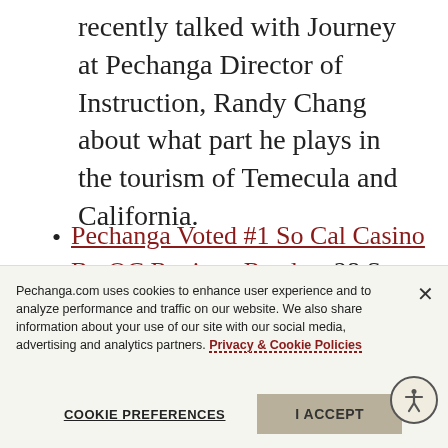recently talked with Journey at Pechanga Director of Instruction, Randy Chang about what part he plays in the tourism of Temecula and California.
Pechanga Voted #1 So Cal Casino By OC Register Readers 28 Sep 2020
Pechanga.com uses cookies to enhance user experience and to analyze performance and traffic on our website. We also share information about your use of our site with our social media, advertising and analytics partners. Privacy & Cookie Policies